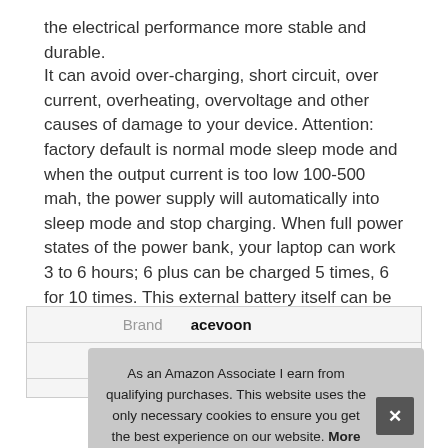the electrical performance more stable and durable.
It can avoid over-charging, short circuit, over current, overheating, overvoltage and other causes of damage to your device. Attention: factory default is normal mode sleep mode and when the output current is too low 100-500 mah, the power supply will automatically into sleep mode and stop charging. When full power states of the power bank, your laptop can work 3 to 6 hours; 6 plus can be charged 5 times, 6 for 10 times. This external battery itself can be fully charged within 4 hours.
|  |  |
| --- | --- |
| Brand | acevoon |
| Ma |  |
As an Amazon Associate I earn from qualifying purchases. This website uses the only necessary cookies to ensure you get the best experience on our website. More information